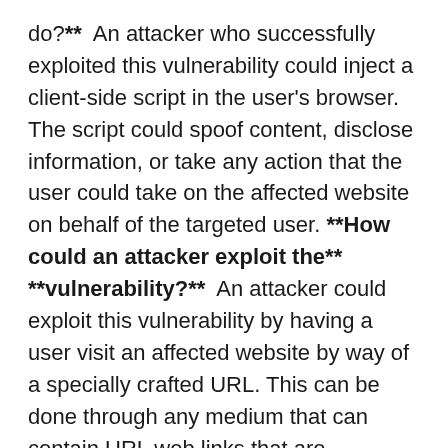do?**  An attacker who successfully exploited this vulnerability could inject a client-side script in the user's browser. The script could spoof content, disclose information, or take any action that the user could take on the affected website on behalf of the targeted user. **How could an attacker exploit the** **vulnerability?**  An attacker could exploit this vulnerability by having a user visit an affected website by way of a specially crafted URL. This can be done through any medium that can contain URL web links that are controlled by the attacker, such as a link in an email, a link on a website, or a redirect on a website. In addition, compromised websites and websites that accept or host user-provided content or advertisements could contain specially crafted content that could exploit this vulnerability. In all cases, however, an attacker would have no way to force users to visit these websites. Instead, an attacker would have to convince users to visit the website, typically by getting them to click a link in an email.